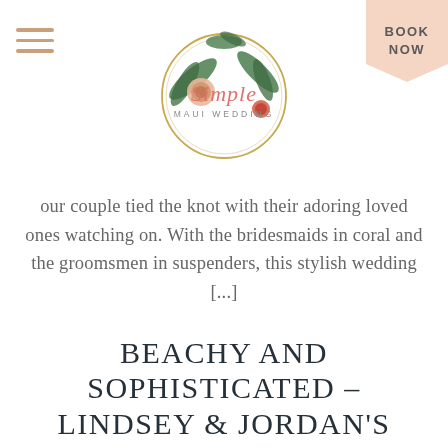[Figure (logo): Simple Maui Wedding logo — circular gold-outlined ring with tropical flowers (protea, fern, palm leaves) and script text 'Simple' with 'MAUI WEDDING' below in small caps]
BOOK NOW
our couple tied the knot with their adoring loved ones watching on. With the bridesmaids in coral and the groomsmen in suspenders, this stylish wedding [...]
BEACHY AND SOPHISTICATED – LINDSEY & JORDAN'S MICRO WEDDING IN MAUI